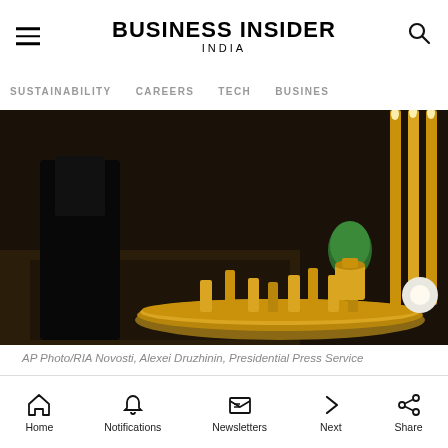BUSINESS INSIDER INDIA
SUSTAINABILITY  CAREERS  TECH  BUSINESS
[Figure (photo): Dark scene showing golden candelabra with lit candles and ornate golden altar items on a large decorative tray, with a figure in dark clothing visible on the left side.]
AP Photo/RIA Novosti, Alexei Druzhinin, Presidential Press Service
Russian President Vladimir Putin lights a candle during a visit to St. Sergius of Radonezh Cathedral in Tsarskoye Selo 24 kilometers (15 mi) south from Saint Petersburg on Monday, Dec. 8, 2014.
[Figure (screenshot): Men's Wearhouse advertisement banner showing logo, 'New Lower Prices' tagline, couple photo, and man in suit.]
"Mode
Home  Notifications  Newsletters  Next  Share